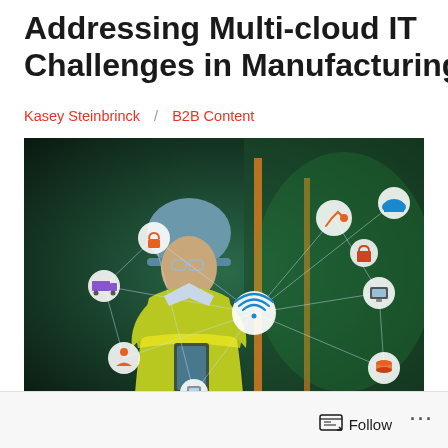Addressing Multi-cloud IT Challenges in Manufacturing
Kasey Steinbrinck / B2B Content
[Figure (photo): A woman in a yellow safety vest and blue hard hat stands in an industrial manufacturing facility, with augmented reality IoT network icons (cloud, wifi, robot arm, truck, lock, mobile phone, etc.) overlaid on the image, connected by lines representing a digital industrial network.]
Follow ...